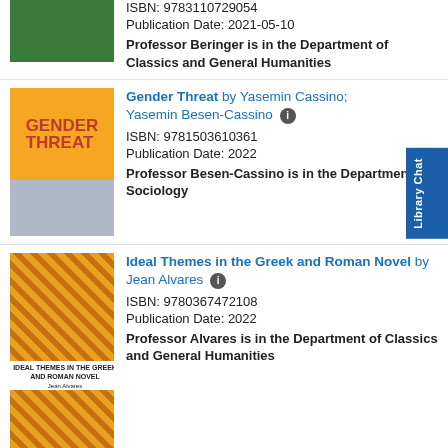[Figure (photo): Partial book cover, green/decorative pattern, top portion only]
ISBN: 9783110729054
Publication Date: 2021-05-10
Professor Beringer is in the Department of Classics and General Humanities
[Figure (photo): Book cover: Gender Threat by Yasemin Cassino and Yasemin Besen-Cassino, orange and gray cover with hand image]
Gender Threat by Yasemin Cassino; Yasemin Besen-Cassino
ISBN: 9781503610361
Publication Date: 2022
Professor Besen-Cassino is in the Department of Sociology
[Figure (photo): Book cover: Ideal Themes in the Greek and Roman Novel by Jean Alvares, gold patterned cover, two-part image]
Ideal Themes in the Greek and Roman Novel by Jean Alvares
ISBN: 9780367472108
Publication Date: 2022
Professor Alvares is in the Department of Classics and General Humanities
[Figure (photo): Partial book cover at bottom, blue/multicolored, partially visible]